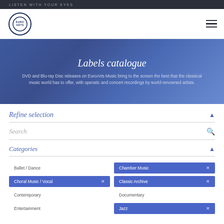LISTEN WITH YOUR EYES
[Figure (logo): EuroArts circular logo with text EuroArts]
Labels catalogue
DVD and Blu-ray Disc releases on EuroArts Music bring to the screen the best that the classical music world has to offer, with operatic and concert recordings by world-renowned artists.
Refine selection
Search
Categories
Ballet / Dance
Chamber Music
Choral Music / Vocal
Classic Archive
Contemporary
Documentary
Entertainment
Jazz